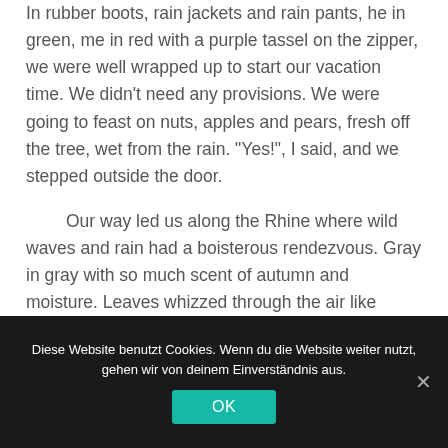In rubber boots, rain jackets and rain pants, he in green, me in red with a purple tassel on the zipper, we were well wrapped up to start our vacation time. We didn't need any provisions. We were going to feast on nuts, apples and pears, fresh off the tree, wet from the rain. "Yes!", I said, and we stepped outside the door.
Our way led us along the Rhine where wild waves and rain had a boisterous rendezvous. Gray in gray with so much scent of autumn and moisture. Leaves whizzed through the air like swarms of high-spirited folding planes in brown
Diese Website benutzt Cookies. Wenn du die Website weiter nutzt, gehen wir von deinem Einverständnis aus.